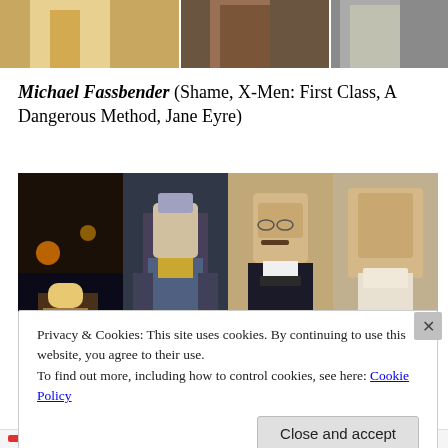[Figure (photo): Top strip of photos showing female figures partially cropped at top of page]
Michael Fassbender (Shame, X-Men: First Class, A Dangerous Method, Jane Eyre)
[Figure (photo): Four photos of Michael Fassbender in various film roles: night city scene with scarf, Magneto costume in X-Men First Class, period costume with glasses and mustache, and romantic period drama]
Privacy & Cookies: This site uses cookies. By continuing to use this website, you agree to their use.
To find out more, including how to control cookies, see here: Cookie Policy
Close and accept